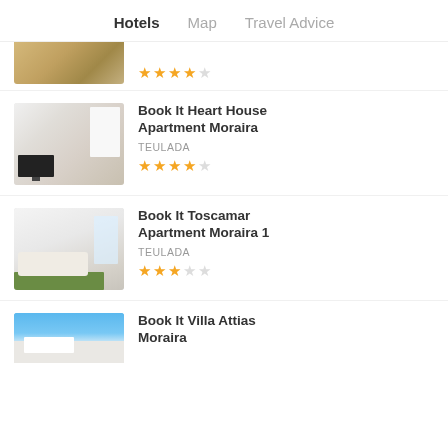Hotels  Map  Travel Advice
[Figure (photo): Partial view of a hotel/apartment interior photo (cropped), with star rating visible]
★★★★☆ (stars, partial listing)
Book It Heart House Apartment Moraira
TEULADA
★★★★☆ (3.5 stars)
[Figure (photo): Interior of a modern apartment with white sofa, green rug, TV area, and view of balcony/window]
Book It Toscamar Apartment Moraira 1
TEULADA
★★★☆☆ (3 stars)
[Figure (photo): Interior photo of apartment with living room]
Book It Villa Attias Moraira